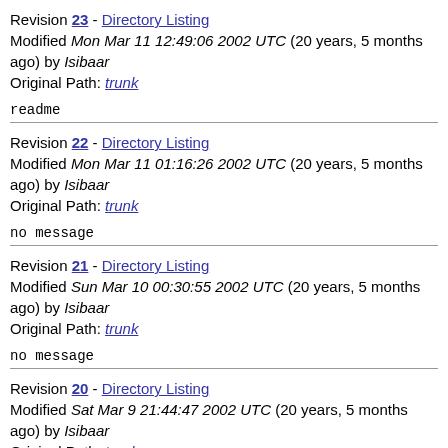Revision 23 - Directory Listing
Modified Mon Mar 11 12:49:06 2002 UTC (20 years, 5 months ago) by Isibaar
Original Path: trunk
readme
Revision 22 - Directory Listing
Modified Mon Mar 11 01:16:26 2002 UTC (20 years, 5 months ago) by Isibaar
Original Path: trunk
no message
Revision 21 - Directory Listing
Modified Sun Mar 10 00:30:55 2002 UTC (20 years, 5 months ago) by Isibaar
Original Path: trunk
no message
Revision 20 - Directory Listing
Modified Sat Mar 9 21:44:47 2002 UTC (20 years, 5 months ago) by Isibaar
Original Path: trunk